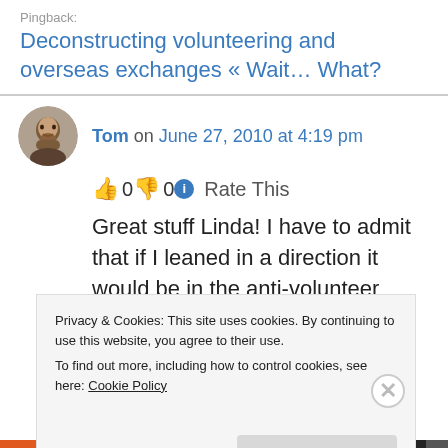Pingback: Deconstructing volunteering and overseas exchanges « Wait… What?
Tom on June 27, 2010 at 4:19 pm
👍 0 👎 0 ℹ Rate This
Great stuff Linda! I have to admit that if I leaned in a direction it would be in the anti-volunteer
Privacy & Cookies: This site uses cookies. By continuing to use this website, you agree to their use.
To find out more, including how to control cookies, see here: Cookie Policy
Close and accept